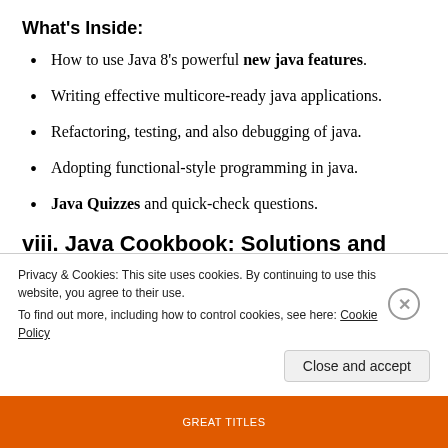What's Inside:
How to use Java 8's powerful new java features.
Writing effective multicore-ready java applications.
Refactoring, testing, and also debugging of java.
Adopting functional-style programming in java.
Java Quizzes and quick-check questions.
viii. Java Cookbook: Solutions and Examples for Java Developers
Privacy & Cookies: This site uses cookies. By continuing to use this website, you agree to their use.
To find out more, including how to control cookies, see here: Cookie Policy
Close and accept